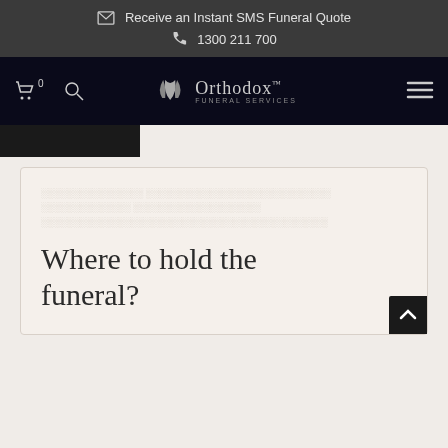Receive an Instant SMS Funeral Quote | 1300 211 700
[Figure (screenshot): Orthodox Funeral Services navigation bar with logo, cart icon, search icon, and hamburger menu]
Where to hold the funeral?